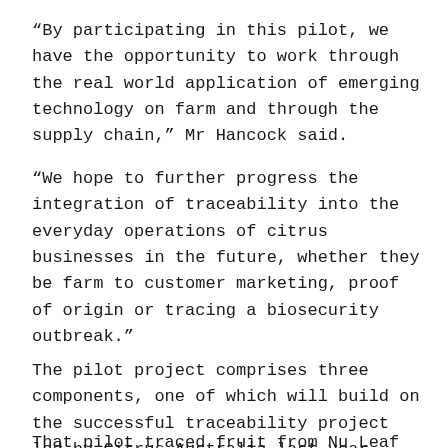“By participating in this pilot, we have the opportunity to work through the real world application of emerging technology on farm and through the supply chain,” Mr Hancock said.
“We hope to further progress the integration of traceability into the everyday operations of citrus businesses in the future, whether they be farm to customer marketing, proof of origin or tracing a biosecurity outbreak.”
The pilot project comprises three components, one of which will build on the successful traceability project led by Citrus Australia last year.
That pilot traced fruit from Nu Leaf I.P. orchards in Mildura, through the Mildura Fruit Company (MFC),